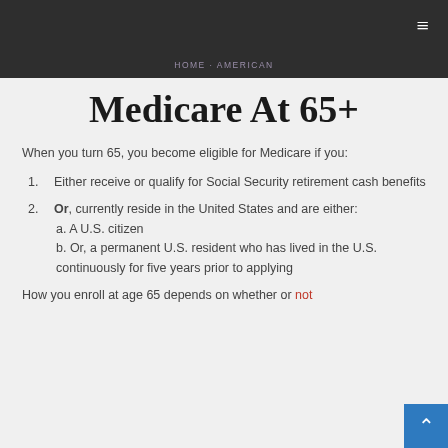≡
HOME · AMERICAN
Medicare At 65+
When you turn 65, you become eligible for Medicare if you:
Either receive or qualify for Social Security retirement cash benefits
Or, currently reside in the United States and are either:
a. A U.S. citizen
b. Or, a permanent U.S. resident who has lived in the U.S. continuously for five years prior to applying
How you enroll at age 65 depends on whether or not